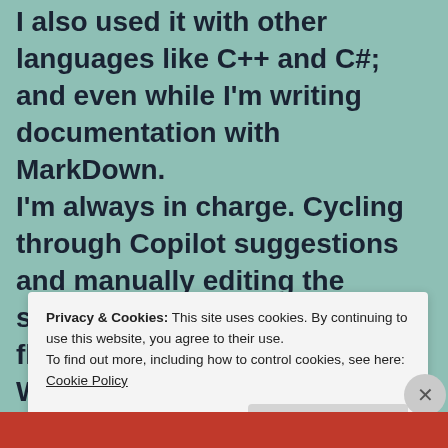I also used it with other languages like C++ and C#; and even while I'm writing documentation with MarkDown. I'm always in charge. Cycling through Copilot suggestions and manually editing the suggested code is an amazing flow. What I really like is that GitHub Copilot adapts to my own code style. During this series, we will review how
Privacy & Cookies: This site uses cookies. By continuing to use this website, you agree to their use.
To find out more, including how to control cookies, see here: Cookie Policy
Close and accept